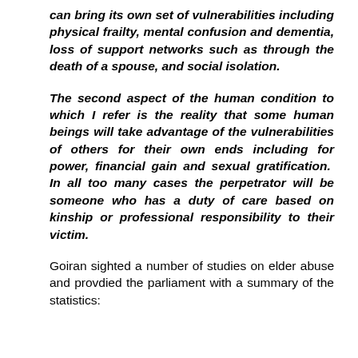can bring its own set of vulnerabilities including physical frailty, mental confusion and dementia, loss of support networks such as through the death of a spouse, and social isolation.
The second aspect of the human condition to which I refer is the reality that some human beings will take advantage of the vulnerabilities of others for their own ends including for power, financial gain and sexual gratification. In all too many cases the perpetrator will be someone who has a duty of care based on kinship or professional responsibility to their victim.
Goiran sighted a number of studies on elder abuse and provdied the parliament with a summary of the statistics: